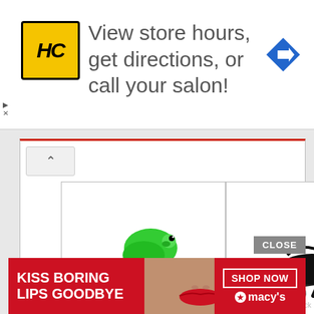[Figure (screenshot): HC salon logo — yellow square with bold black italic HC letters and black border]
View store hours, get directions, or call your salon!
[Figure (screenshot): Blue diamond navigation arrow icon]
[Figure (screenshot): Gallery panel with three chameleon images: green vector logo, black silhouette on branch, colorful chameleon on branch with See More overlay. Shutterstock watermarks visible.]
See More
CLOSE
[Figure (screenshot): Macy's ad banner: red background, KISS BORING LIPS GOODBYE text, woman's face with red lips, SHOP NOW button with Macy's star logo]